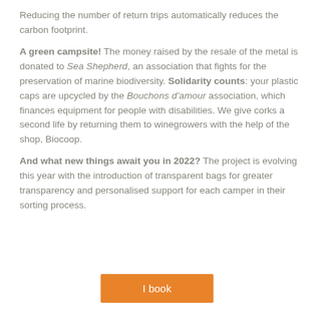Reducing the number of return trips automatically reduces the carbon footprint.
A green campsite! The money raised by the resale of the metal is donated to Sea Shepherd, an association that fights for the preservation of marine biodiversity. Solidarity counts: your plastic caps are upcycled by the Bouchons d’amour association, which finances equipment for people with disabilities. We give corks a second life by returning them to winegrowers with the help of the shop, Biocoop.
And what new things await you in 2022? The project is evolving this year with the introduction of transparent bags for greater transparency and personalised support for each camper in their sorting process.
I book